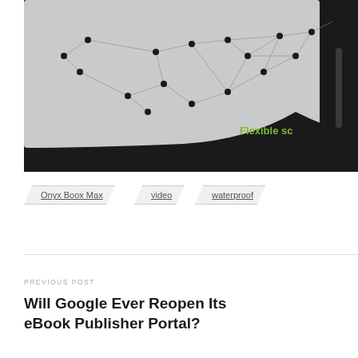[Figure (photo): Close-up of an e-reader tablet device (Onyx Boox Max) lying at an angle, showing its screen with a network/connectivity graphic pattern of dots connected by lines on a gray background. The device has a black frame/bezel. In the lower right corner of the screen, green text reads 'Flexible sc' (partially cropped).]
Onyx Boox Max
video
waterproof
PREVIOUS POST
Will Google Ever Reopen Its eBook Publisher Portal?